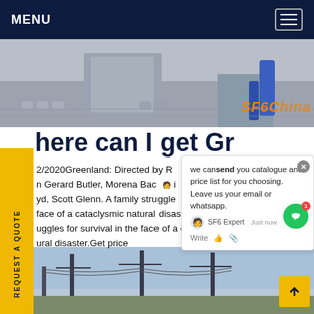MENU
[Figure (photo): Top banner photo showing concrete construction work with a person in blue work clothes visible]
SF6China
here can I get Gr nd
2/2020Greenland: Directed by R augh. n Gerard Butler, Morena Bac i e yd, Scott Glenn. A family struggle l in face of a cataclysmic natural disaster. A family uggles for survival in the face of a cataclysmic ural disaster.Get price
[Figure (screenshot): Chat popup overlay with message: we can send you catalogue and price list for you choosing. Leave us your email or whatsapp. SF6 Expert, just now]
[Figure (photo): Bottom banner photo showing electrical transmission towers and infrastructure against blue sky]